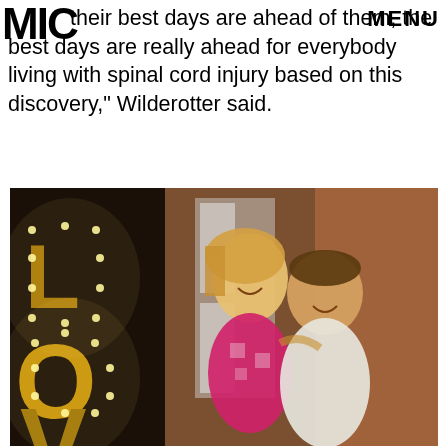MIC | MENU
Just as their best days are ahead of them, the best days are really ahead for everybody living with spinal cord injury based on this discovery," Wilderotter said.
[Figure (photo): A couple posing together in front of large illuminated 'LOVE' marquee letters. A woman with blonde hair wearing a pink patterned dress and a man in a white shirt, both smiling.]